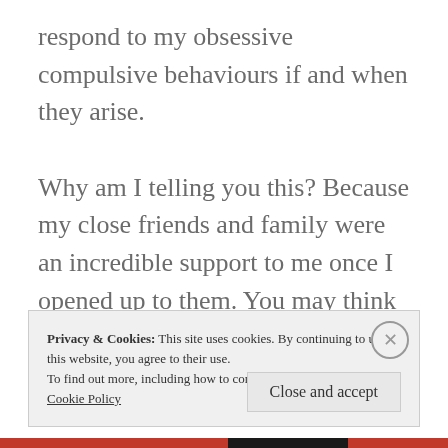respond to my obsessive compulsive behaviours if and when they arise.

Why am I telling you this? Because my close friends and family were an incredible support to me once I opened up to them. You may think that your mum/dad/sibling/best mate/work colleague is okay, but they could be struggling with a problem they're too frightened or
Privacy & Cookies: This site uses cookies. By continuing to use this website, you agree to their use.
To find out more, including how to control cookies, see here:
Cookie Policy